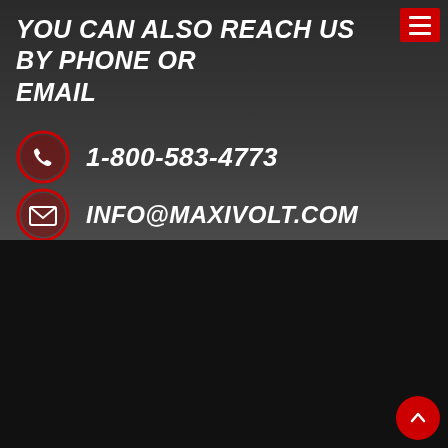YOU CAN ALSO REACH US BY PHONE OR EMAIL
1-800-583-4773
INFO@MAXIVOLT.COM
HOME | ABOUT | PRODUCTS | CONTACT | CASE STUDIES | TESTIMONIALS | VIDEO | CAREERS | BLOG | WARRANTY
[Figure (logo): BBB Accredited Business badge with BBB logo on white background and text ACCREDITED BUSINESS on dark background]
© 2022 – All rights reserved – Web design by 887 Media